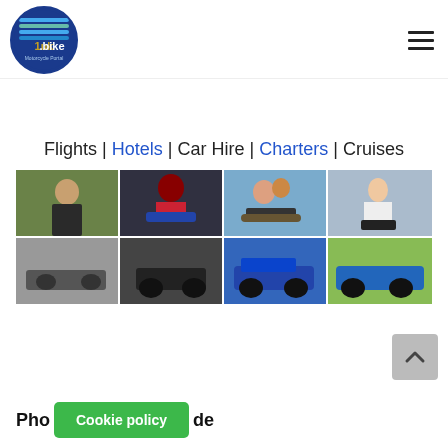1uk.bike Motorcycle Portal
Flights | Hotels | Car Hire | Charters | Cruises
[Figure (photo): 2x4 grid of motorcycle-related photos showing riders, couples on bikes, and motorcycles]
[Figure (other): Back to top arrow button]
Cookie policy
Pho...de